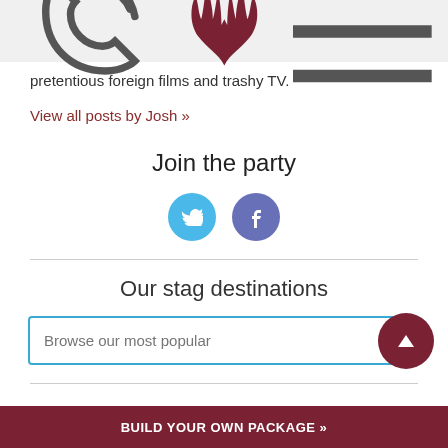pretentious foreign films and trashy TV.
View all posts by Josh »
Join the party
[Figure (other): Twitter and Facebook social media icon buttons (circular) — Twitter in sky blue, Facebook in muted blue-purple]
Our stag destinations
[Figure (other): Search input box with placeholder 'Browse our most popular' and a dark red circular scroll-to-top button with an up arrow]
BUILD YOUR OWN PACKAGE »